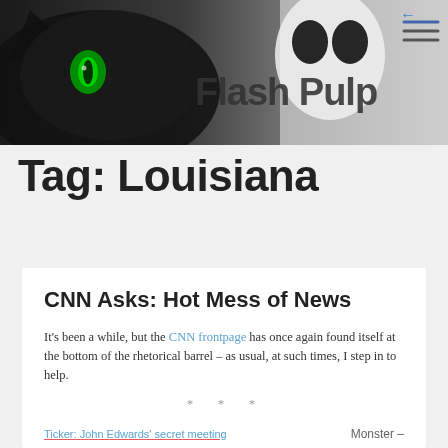[Figure (illustration): Flash Pulp website header banner showing a stylized black and white cat/creature illustration with a green eye, overlaid with the text 'Flash Pulp'. A hamburger menu icon appears in the top right corner.]
Tag: Louisiana
CNN Asks: Hot Mess of News
It's been a while, but the CNN frontpage has once again found itself at the bottom of the rhetorical barrel – as usual, at such times, I step in to help.
* * *
Ticker: John Edwards' secret meeting
Monster –